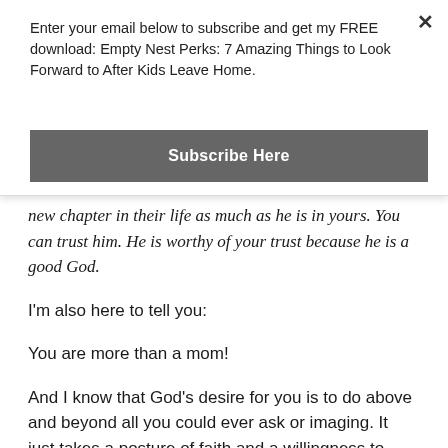Enter your email below to subscribe and get my FREE download: Empty Nest Perks: 7 Amazing Things to Look Forward to After Kids Leave Home.
Subscribe Here
new chapter in their life as much as he is in yours. You can trust him. He is worthy of your trust because he is a good God.
I'm also here to tell you:
You are more than a mom!
And I know that God's desire for you is to do above and beyond all you could ever ask or imaging. It just takes a posture of faith and a willingness to step out into the deep.